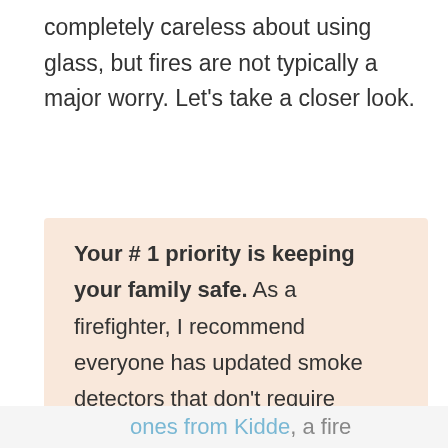completely careless about using glass, but fires are not typically a major worry. Let's take a closer look.
Your # 1 priority is keeping your family safe. As a firefighter, I recommend everyone has updated smoke detectors that don't require battery changes, like these ones from Kidde, a fire